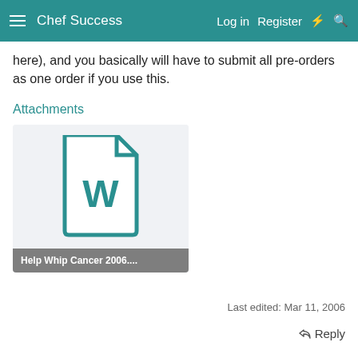Chef Success  Log in  Register
here), and you basically will have to submit all pre-orders as one order if you use this.
Attachments
[Figure (other): Word document file icon with letter W, teal colored outline]
Help Whip Cancer 2006....
Last edited: Mar 11, 2006
Reply